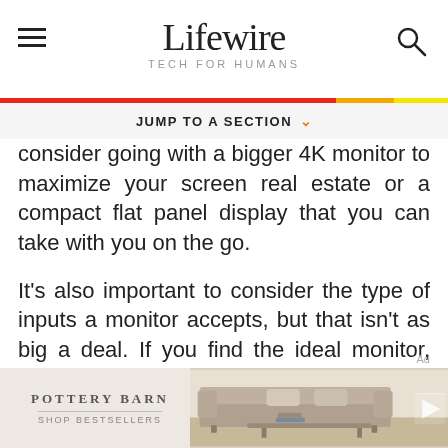Lifewire — TECH FOR HUMANS
consider going with a bigger 4K monitor to maximize your screen real estate or a compact flat panel display that you can take with you on the go.
It's also important to consider the type of inputs a monitor accepts, but that isn't as big a deal. If you find the ideal monitor, but it only has HDMI inputs, and you're using a MacBook that only has USB-C, all you need to do is pick up a USB-C to HDMI adapter or a USB-C hub that
[Figure (photo): Pottery Barn advertisement banner showing a sofa/living room furniture. Logo reads POTTERY BARN with text SHOP BESTSELLERS underneath.]